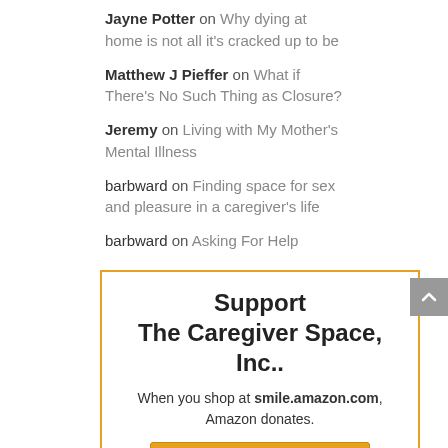Jayne Potter on Why dying at home is not all it's cracked up to be
Matthew J Pieffer on What if There's No Such Thing as Closure?
Jeremy on Living with My Mother's Mental Illness
barbward on Finding space for sex and pleasure in a caregiver's life
barbward on Asking For Help
Support The Caregiver Space, Inc.. When you shop at smile.amazon.com, Amazon donates. Go to smile.amazon.com